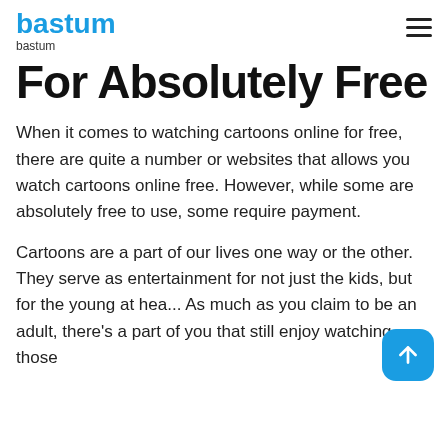bastum
bastum
For Absolutely Free
When it comes to watching cartoons online for free, there are quite a number or websites that allows you watch cartoons online free. However, while some are absolutely free to use, some require payment.
Cartoons are a part of our lives one way or the other. They serve as entertainment for not just the kids, but for the young at hea... As much as you claim to be an adult, there's a part of you that still enjoy watching those